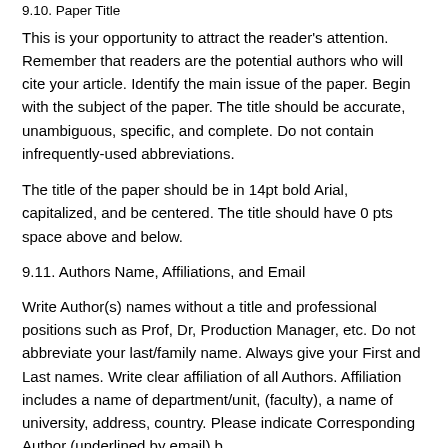9.10. Paper Title
This is your opportunity to attract the reader's attention. Remember that readers are the potential authors who will cite your article. Identify the main issue of the paper. Begin with the subject of the paper. The title should be accurate, unambiguous, specific, and complete. Do not contain infrequently-used abbreviations.
The title of the paper should be in 14pt bold Arial, capitalized, and be centered. The title should have 0 pts space above and below.
9.11. Authors Name, Affiliations, and Email
Write Author(s) names without a title and professional positions such as Prof, Dr, Production Manager, etc. Do not abbreviate your last/family name. Always give your First and Last names. Write clear affiliation of all Authors. Affiliation includes a name of department/unit, (faculty), a name of university, address, country. Please indicate Corresponding Author (underlined by email) b